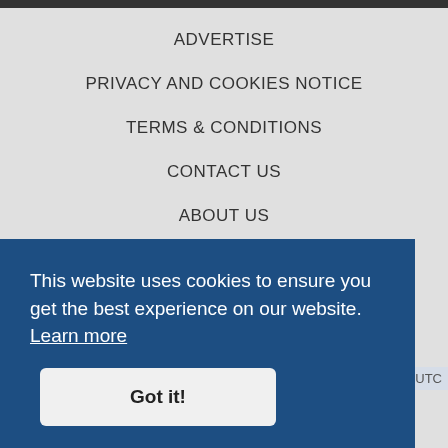ADVERTISE
PRIVACY AND COOKIES NOTICE
TERMS & CONDITIONS
CONTACT US
ABOUT US
CONSENT SETTINGS
[Figure (logo): Planet F1 logo with 'planet' in black bold text and 'f1' in red bold text]
This website uses cookies to ensure you get the best experience on our website. Learn more
Got it!
times are UTC